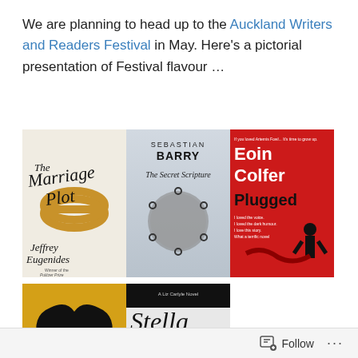We are planning to head up to the Auckland Writers and Readers Festival in May. Here's a pictorial presentation of Festival flavour …
[Figure (photo): Three book covers side by side: 'The Marriage Plot' by Jeffrey Eugenides (white cover with gold ring), 'The Secret Scripture' by Sebastian Barry (gray cover with circular portrait), 'Plugged' by Eoin Colfer (red cover with silhouette)]
[Figure (photo): Two book covers partially visible: yellow cover with bull horns silhouette on left, 'Stella Rimington' book cover on right (black and white with red text)]
Follow ...